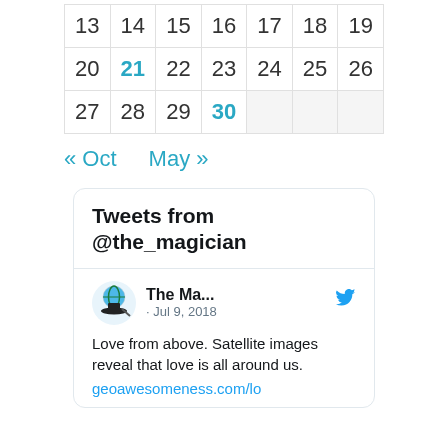| 13 | 14 | 15 | 16 | 17 | 18 | 19 |
| 20 | 21 | 22 | 23 | 24 | 25 | 26 |
| 27 | 28 | 29 | 30 |  |  |  |
« Oct   May »
[Figure (screenshot): Tweets from @the_magician widget. Shows a tweet by 'The Ma...' dated Jul 9, 2018: 'Love from above. Satellite images reveal that love is all around us. geoawesomeness.com/lo']